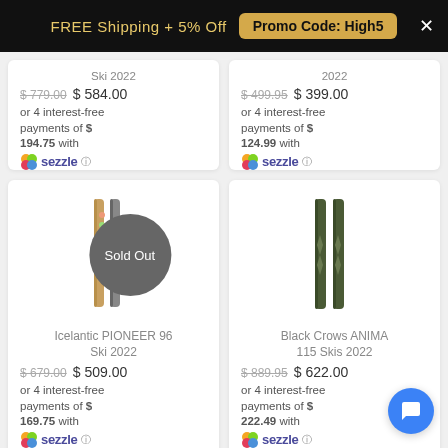FREE Shipping + 5% Off  Promo Code: High5  ×
Ski 2022
$779.00  $584.00
or 4 interest-free payments of $194.75 with sezzle
2022
$499.95  $399.00
or 4 interest-free payments of $124.99 with sezzle
[Figure (photo): Icelantic PIONEER 96 ski with Sold Out badge overlay]
Icelantic PIONEER 96 Ski 2022
$679.00  $509.00
or 4 interest-free payments of $169.75 with sezzle
[Figure (photo): Black Crows ANIMA 115 skis product image]
Black Crows ANIMA 115 Skis 2022
$889.95  $622.00
or 4 interest-free payments of $222.49 with sezzle